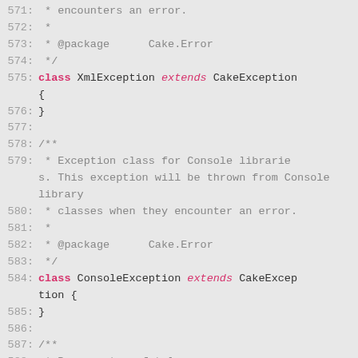Source code snippet showing PHP class definitions for XmlException, ConsoleException, and FatalErrorException, lines 571-594